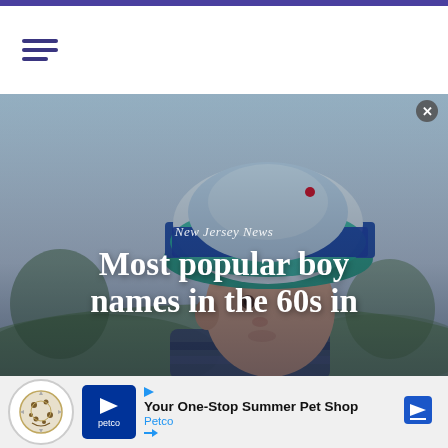[Figure (photo): Young toddler boy wearing a colorful striped bucket hat (teal, blue, white) looking to the side, with a blurred outdoor background. Text overlay reads 'New Jersey News' and 'Most popular boy names in the 60s in']
New Jersey News
Most popular boy names in the 60s in
[Figure (infographic): Advertisement banner for Petco: 'Your One-Stop Summer Pet Shop' with Petco logo and navigation arrow icon]